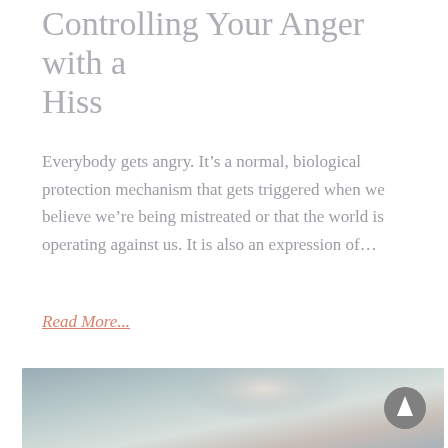Controlling Your Anger with a Hiss
Everybody gets angry. It’s a normal, biological protection mechanism that gets triggered when we believe we’re being mistreated or that the world is operating against us. It is also an expression of…
Read More...
[Figure (photo): Soft blurred abstract image in muted blue, grey and warm tones, with a circular scroll-to-top button overlay on the right side]